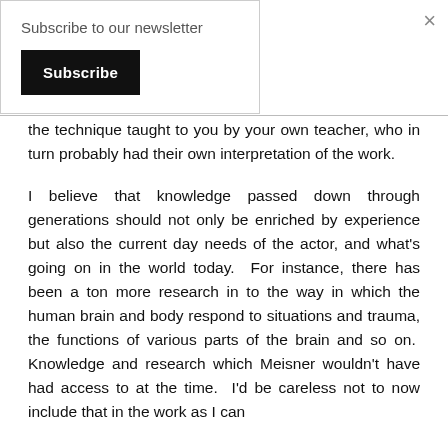Subscribe to our newsletter
Subscribe
×
the technique taught to you by your own teacher, who in turn probably had their own interpretation of the work.
I believe that knowledge passed down through generations should not only be enriched by experience but also the current day needs of the actor, and what's going on in the world today.  For instance, there has been a ton more research in to the way in which the human brain and body respond to situations and trauma, the functions of various parts of the brain and so on.  Knowledge and research which Meisner wouldn't have had access to at the time.  I'd be careless not to now include that in the work as I can